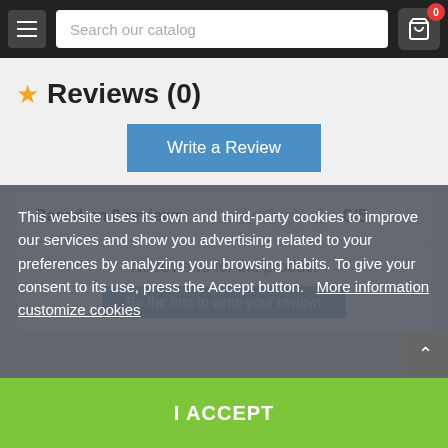Search our catalog
Reviews (0)
Write a Review
Based on 0 reviews - 0/5
No reviews for the product
Be the first to write your review!
This website uses its own and third-party cookies to improve our services and show you advertising related to your preferences by analyzing your browsing habits. To give your consent to its use, press the Accept button.   More information   customize cookies
I ACCEPT